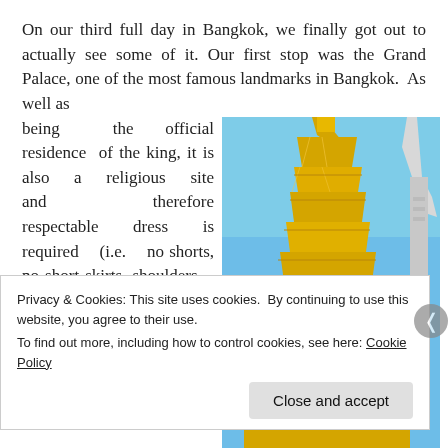On our third full day in Bangkok, we finally got out to actually see some of it. Our first stop was the Grand Palace, one of the most famous landmarks in Bangkok. As well as being the official residence of the king, it is also a religious site and therefore respectable dress is required (i.e. no shorts, no short skirts, shoulders must be covered etc). Knowing this, we had
[Figure (photo): A tall golden stupa/chedi at the Grand Palace in Bangkok against a blue sky, with ornate temple structures visible.]
Privacy & Cookies: This site uses cookies. By continuing to use this website, you agree to their use.
To find out more, including how to control cookies, see here: Cookie Policy